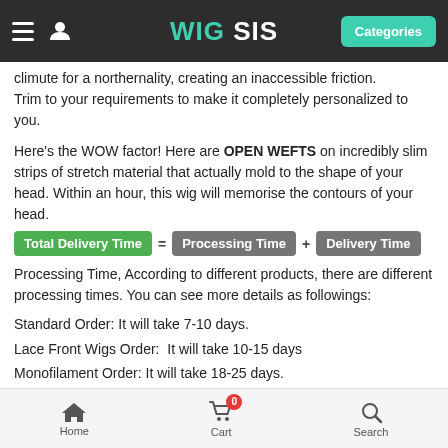WIG SIS — Categories
climute for a northernality, creating an inaccessible friction. Trim to your requirements to make it completely personalized to you.
Here's the WOW factor! Here are OPEN WEFTS on incredibly slim strips of stretch material that actually mold to the shape of your head. Within an hour, this wig will memorise the contours of your head.
Total Delivery Time = Processing Time + Delivery Time
Processing Time, According to different products, there are different processing times. You can see more details as followings:
Standard Order: It will take 7-10 days.
Lace Front Wigs Order:  It will take 10-15 days
Monofilament Order: It will take 18-25 days.
Full Lace Wigs Order: It will take 15-20 working days.
Hand-tied Wigs Order:  It will take 15-20 working days.
Men Toupees/Women Toppers Order: It will take 40-45 working
Home   Cart 0   Search